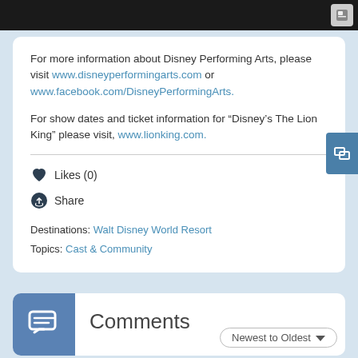[Figure (screenshot): Black image strip at top of page with a small grey icon in the top right corner]
For more information about Disney Performing Arts, please visit www.disneyperformingarts.com or www.facebook.com/DisneyPerformingArts.
For show dates and ticket information for “Disney’s The Lion King” please visit, www.lionking.com.
Likes (0)
Share
Destinations: Walt Disney World Resort
Topics: Cast & Community
Comments